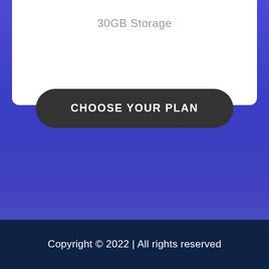30GB Storage
CHOOSE YOUR PLAN
Copyright © 2022 | All rights reserved